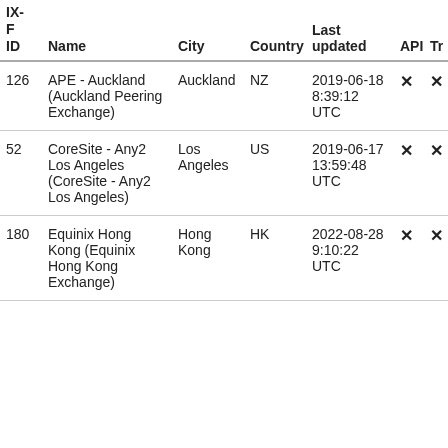| IX-
F
ID | Name | City | Country | Last updated | API | Tr |
| --- | --- | --- | --- | --- | --- | --- |
| 126 | APE - Auckland (Auckland Peering Exchange) | Auckland | NZ | 2019-06-18 8:39:12 UTC | ✕ | ✕ |
| 52 | CoreSite - Any2 Los Angeles (CoreSite - Any2 Los Angeles) | Los Angeles | US | 2019-06-17 13:59:48 UTC | ✕ | ✕ |
| 180 | Equinix Hong Kong (Equinix Hong Kong Exchange) | Hong Kong | HK | 2022-08-28 9:10:22 UTC | ✕ | ✕ |